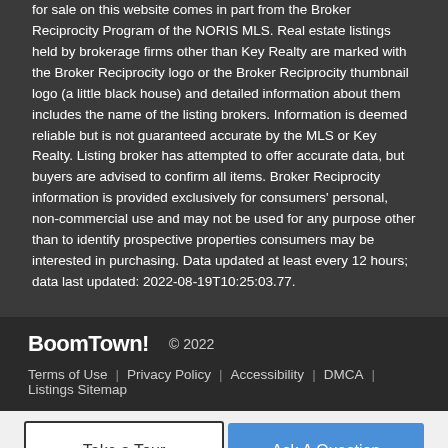for sale on this website comes in part from the Broker Reciprocity Program of the NORIS MLS. Real estate listings held by brokerage firms other than Key Realty are marked with the Broker Reciprocity logo or the Broker Reciprocity thumbnail logo (a little black house) and detailed information about them includes the name of the listing brokers. Information is deemed reliable but is not guaranteed accurate by the MLS or Key Realty. Listing broker has attempted to offer accurate data, but buyers are advised to confirm all items. Broker Reciprocity information is provided exclusively for consumers' personal, non-commercial use and may not be used for any purpose other than to identify prospective properties consumers may be interested in purchasing. Data updated at least every 12 hours; data last updated: 2022-08-19T10:25:03.77.
BoomTown! © 2022 | Terms of Use | Privacy Policy | Accessibility | DMCA | Listings Sitemap
Take a Tour | Ask A Question